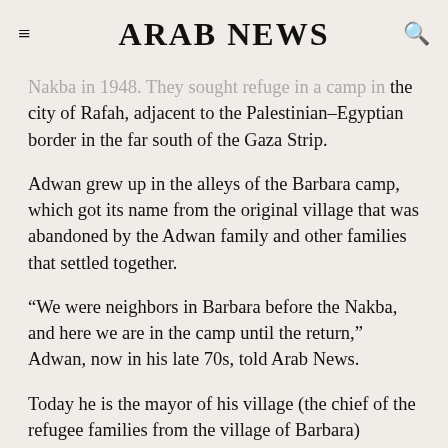ARAB NEWS
Nakba in 1948. They sought refuge in a camp in the city of Rafah, adjacent to the Palestinian-Egyptian border in the far south of the Gaza Strip.
Adwan grew up in the alleys of the Barbara camp, which got its name from the original village that was abandoned by the Adwan family and other families that settled together.
“We were neighbors in Barbara before the Nakba, and here we are in the camp until the return,” Adwan, now in his late 70s, told Arab News.
Today he is the mayor of his village (the chief of the refugee families from the village of Barbara)